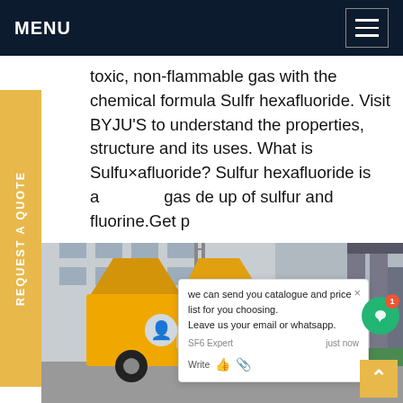MENU
toxic, non-flammable gas with the chemical formula Sulfr hexafluoride. Visit BYJU'S to understand the properties, structure and its uses. What is Sulfur hexafluoride? Sulfur hexafluoride is a gas made up of sulfur and fluorine.Get p
[Figure (photo): Yellow truck / mobile SF6 service vehicle parked in front of a building, with electrical transformer equipment visible on the right side.]
REQUEST A QUOTE
we can send you catalogue and price list for you choosing.
Leave us your email or whatsapp.
SF6 Expert  just now
Write